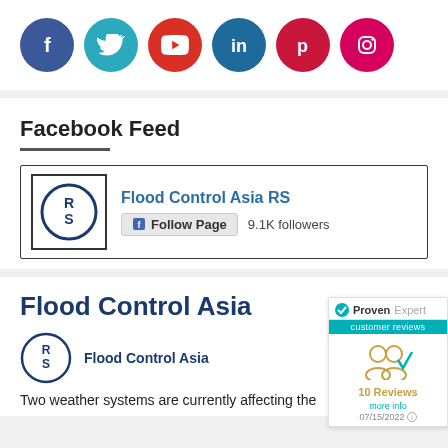[Figure (illustration): Social media icons: Facebook (blue), Twitter (teal), YouTube (red), LinkedIn (dark blue), Pinterest (dark red), Instagram (pink), all as circular colored buttons]
Facebook Feed
[Figure (other): Facebook page widget showing Flood Control Asia RS page with RS logo, Follow Page button, and 9.1K followers]
Flood Control Asia
[Figure (logo): Flood Control Asia RS circular logo with RS initials]
Flood Control Asia
Two weather systems are currently affecting the
[Figure (other): ProvenExpert customer reviews widget showing 10 Reviews, more info, dated 07/15/2022]